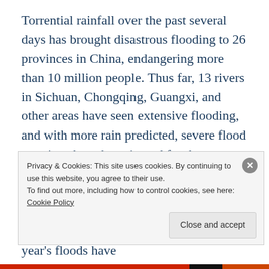Torrential rainfall over the past several days has brought disastrous flooding to 26 provinces in China, endangering more than 10 million people. Thus far, 13 rivers in Sichuan, Chongqing, Guangxi, and other areas have seen extensive flooding, and with more rain predicted, severe flood warnings have been issued for these rivers, including the Yangtze well into Monday (June 29). According to the Hong Kong Economic Times, China's Ministry of Emergency Management said that this year's floods have
Privacy & Cookies: This site uses cookies. By continuing to use this website, you agree to their use.
To find out more, including how to control cookies, see here: Cookie Policy